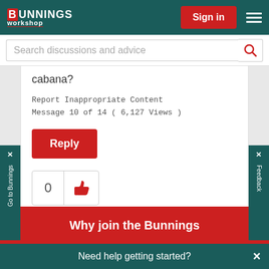BUNNINGS workshop — Sign in
Search discussions and advice
cabana?
Report Inappropriate Content
Message 10 of 14 ( 6,127 Views )
Reply
0
1  2  Next →
Why join the Bunnings
Need help getting started?